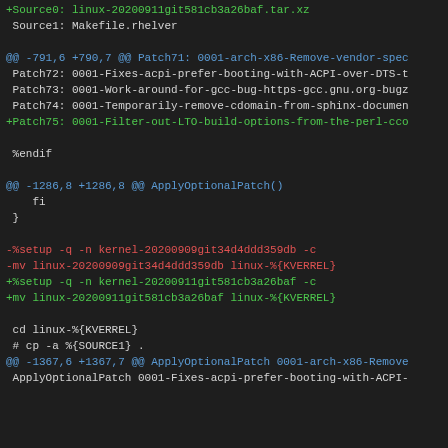+Source0: linux-20200911git581cb3a26baf.tar.xz
 Source1: Makefile.rhelver

@@ -791,6 +790,7 @@ Patch71: 0001-arch-x86-Remove-vendor-spec
 Patch72: 0001-Fixes-acpi-prefer-booting-with-ACPI-over-DTS-t
 Patch73: 0001-Work-around-for-gcc-bug-https-gcc.gnu.org-bugz
 Patch74: 0001-Temporarily-remove-cdomain-from-sphinx-documen
+Patch75: 0001-Filter-out-LTO-build-options-from-the-perl-cco

 %endif

@@ -1286,8 +1286,8 @@ ApplyOptionalPatch()
     fi
 }

-%setup -q -n kernel-20200909git34d4ddd359db -c
-mv linux-20200909git34d4ddd359db linux-%{KVERREL}
+%setup -q -n kernel-20200911git581cb3a26baf -c
+mv linux-20200911git581cb3a26baf linux-%{KVERREL}

 cd linux-%{KVERREL}
 # cp -a %{SOURCE1} .
@@ -1367,6 +1367,7 @@ ApplyOptionalPatch 0001-arch-x86-Remove
 ApplyOptionalPatch 0001-Fixes-acpi-prefer-booting-with-ACPI-